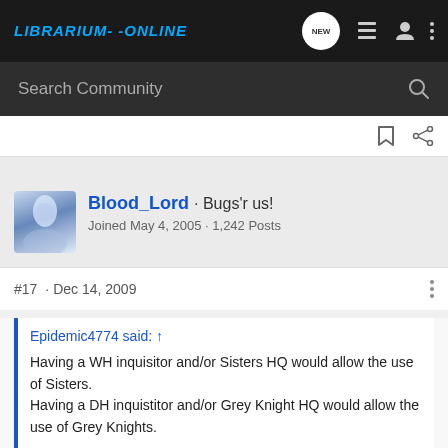Librarium-Online
Search Community
Blood_Lord · Bugs'r us! Joined May 4, 2005 · 1,242 Posts
#17 · Dec 14, 2009
Epidemic4774 said: ↑ Having a WH inquisitor and/or Sisters HQ would allow the use of Sisters. Having a DH inquistitor and/or Grey Knight HQ would allow the use of Grey Knights.